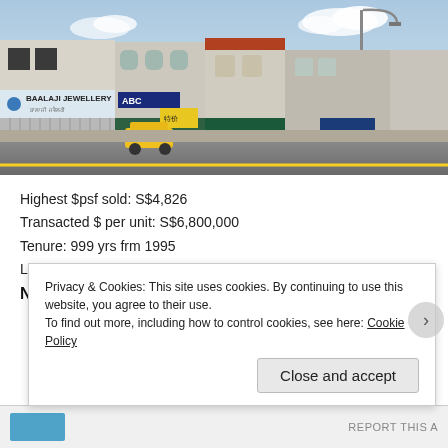[Figure (photo): Street-level photograph of a row of shophouses in Singapore. The leftmost building has a sign reading 'BAALAJI JEWELLERY'. Other shopfronts with awnings and signage visible, including an 'ABC' sign. A yellow taxi is parked on the street. Street lamps and a clear sky with clouds visible in background.]
Highest $psf sold: S$4,826
Transacted $ per unit: S$6,800,000
Tenure: 999 yrs frm 1995
Land Square Feet per unit sold: 1,409 sf
No.4 Syed Alwi Rd (S$4,363psf)
Privacy & Cookies: This site uses cookies. By continuing to use this website, you agree to their use.
To find out more, including how to control cookies, see here: Cookie Policy
Close and accept